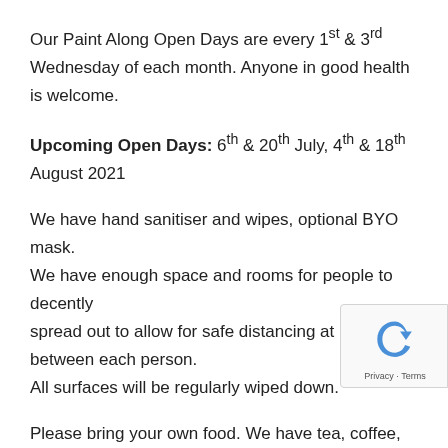Our Paint Along Open Days are every 1st & 3rd Wednesday of each month. Anyone in good health is welcome.
Upcoming Open Days: 6th & 20th July, 4th & 18th August 2021
We have hand sanitiser and wipes, optional BYO mask. We have enough space and rooms for people to decently spread out to allow for safe distancing at least 1.5m between each person.
All surfaces will be regularly wiped down.
Please bring your own food. We have tea, coffee, etc an oven and a microwave in our kitchen that will be cleaned after use.